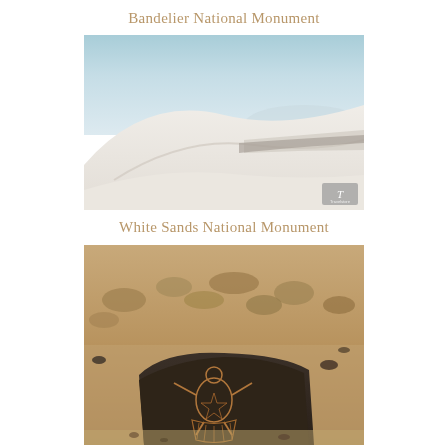Bandelier National Monument
[Figure (photo): White sand dunes landscape with pale blue sky. Rolling white gypsum dunes fill the foreground and middle ground, with a hint of distant mountains under a hazy light-blue sky. A small watermark logo appears in the bottom-right corner.]
White Sands National Monument
[Figure (photo): A dark volcanic rock with ancient petroglyphs carved into it, sitting in a desert landscape with dry scrub brush and sandy/rocky ground in warm brown and tan tones.]